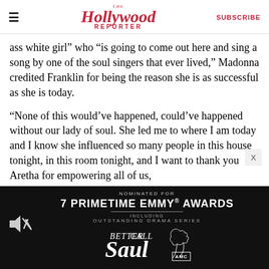≡  The Hollywood Reporter  SUBSCRIBE
ass white girl” who “is going to come out here and sing a song by one of the soul singers that ever lived,” Madonna credited Franklin for being the reason she is as successful as she is today.
“None of this would’ve happened, could’ve happened without our lady of soul. She led me to where I am today and I know she influenced so many people in this house tonight, in this room tonight, and I want to thank you Aretha for empowering all of us,
[Figure (screenshot): Advertisement banner for Better Call Saul: black background with text 'NOMINATED FOR 7 PRIMETIME EMMY AWARDS INCLUDING OUTSTANDING DRAMA SERIES' and the Better Call Saul logo with AMC branding. Speaker/mute icon in lower left corner.]